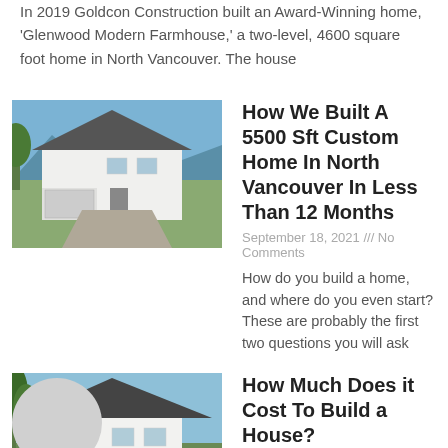In 2019 Goldcon Construction built an Award-Winning home, 'Glenwood Modern Farmhouse,' a two-level, 4600 square foot home in North Vancouver. The house
[Figure (photo): Photo of a white modern farmhouse with mountains and blue sky in background]
How We Built A 5500 Sft Custom Home In North Vancouver In Less Than 12 Months
September 18, 2021 /// No Comments
How do you build a home, and where do you even start? These are probably the first two questions you will ask
[Figure (photo): Photo of a white modern farmhouse with a driveway and trees]
How Much Does it Cost To Build a House?
September 9, 2021 /// No Comments
Building a home in Vancouver, British Columbia often comes with a lot of questions like how much is it going to cost